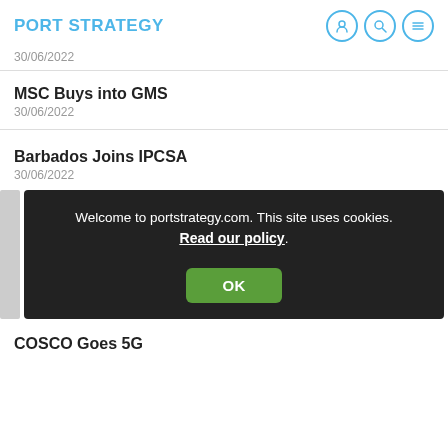PORT STRATEGY
30/06/2022
MSC Buys into GMS
30/06/2022
Barbados Joins IPCSA
30/06/2022
Welcome to portstrategy.com. This site uses cookies. Read our policy. OK
COSCO Goes 5G